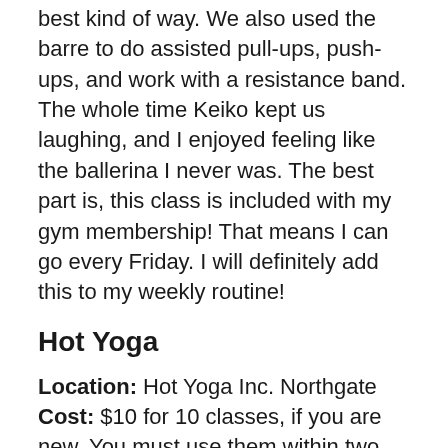best kind of way. We also used the barre to do assisted pull-ups, push-ups, and work with a resistance band. The whole time Keiko kept us laughing, and I enjoyed feeling like the ballerina I never was. The best part is, this class is included with my gym membership! That means I can go every Friday. I will definitely add this to my weekly routine!
Hot Yoga
Location: Hot Yoga Inc. Northgate Cost: $10 for 10 classes, if you are new. You must use them within two